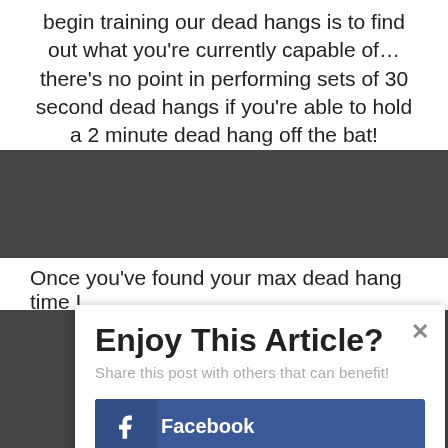begin training our dead hangs is to find out what you're currently capable of... there's no point in performing sets of 30 second dead hangs if you're able to hold a 2 minute dead hang off the bat!
Once you've found your max dead hang time I
Enjoy This Article?
Share this post with others that can benefit!
Facebook
Twitter
Google+
Pinterest